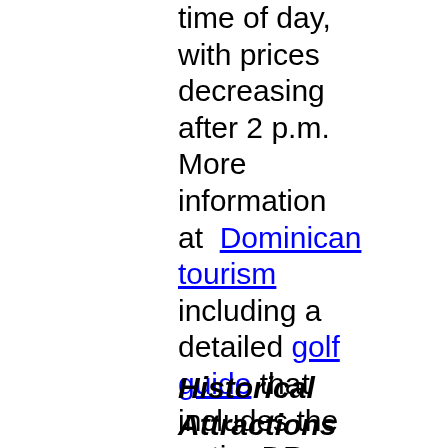time of day, with prices decreasing after 2 p.m. More information at Dominican tourism including a detailed golf guide that includes the entire DR
Historical Attractions